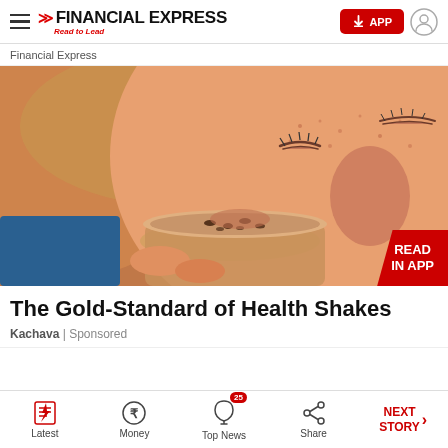Financial Express — Read to Lead
Financial Express
[Figure (photo): Close-up of a woman with freckles drinking from a cup, eyes closed, holding a glass with a milky shake-like beverage topped with chocolate chips or seeds]
The Gold-Standard of Health Shakes
Kachava | Sponsored
Latest | Money | Top News 25 | Share | NEXT STORY